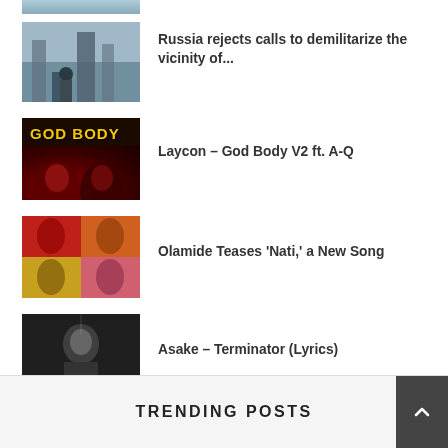[Figure (photo): Partial view of a blue-toned image at top of page (cropped)]
[Figure (photo): A soldier in front of a large industrial building, grey/blue sky]
Russia rejects calls to demilitarize the vicinity of...
[Figure (photo): God Body V2 album art – dark red tones, two figures, yellow text 'GOD BODY']
Laycon – God Body V2 ft. A-Q
[Figure (photo): Olamide photo collage – 4 panels in red, orange, yellow, pink]
Olamide Teases 'Nati,' a New Song
[Figure (photo): Black and white photo of Asake performing on stage]
Asake – Terminator (Lyrics)
TRENDING POSTS